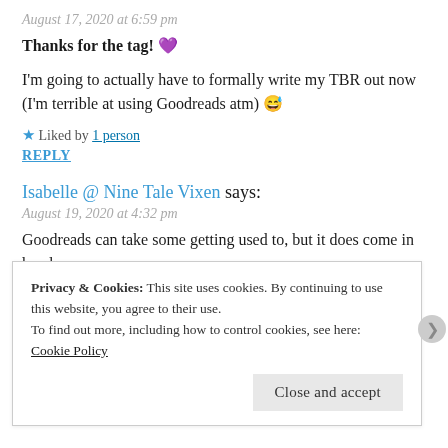August 17, 2020 at 6:59 pm
Thanks for the tag! 💜
I'm going to actually have to formally write my TBR out now (I'm terrible at using Goodreads atm) 😅
★ Liked by 1 person
REPLY
Isabelle @ Nine Tale Vixen says:
August 19, 2020 at 4:32 pm
Goodreads can take some getting used to, but it does come in handy
for TBR tags like this one, haha
Privacy & Cookies: This site uses cookies. By continuing to use this website, you agree to their use. To find out more, including how to control cookies, see here: Cookie Policy